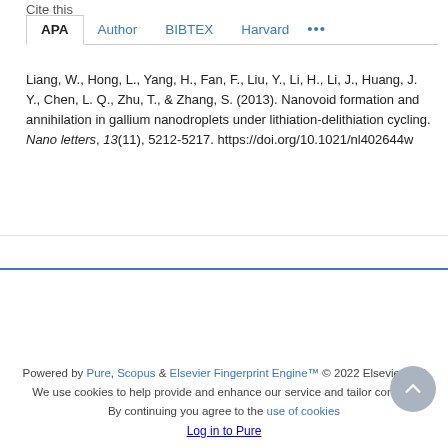Cite this
APA  Author  BIBTEX  Harvard  ...
Liang, W., Hong, L., Yang, H., Fan, F., Liu, Y., Li, H., Li, J., Huang, J. Y., Chen, L. Q., Zhu, T., & Zhang, S. (2013). Nanovoid formation and annihilation in gallium nanodroplets under lithiation-delithiation cycling. Nano letters, 13(11), 5212-5217. https://doi.org/10.1021/nl402644w
Powered by Pure, Scopus & Elsevier Fingerprint Engine™ © 2022 Elsevier B.V
We use cookies to help provide and enhance our service and tailor content. By continuing you agree to the use of cookies
Log in to Pure